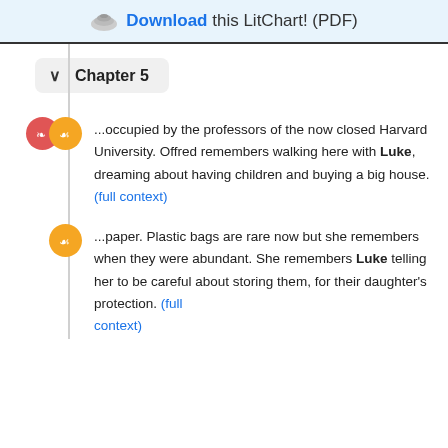Download this LitChart! (PDF)
Chapter 5
...occupied by the professors of the now closed Harvard University. Offred remembers walking here with Luke, dreaming about having children and buying a big house. (full context)
...paper. Plastic bags are rare now but she remembers when they were abundant. She remembers Luke telling her to be careful about storing them, for their daughter's protection. (full context)